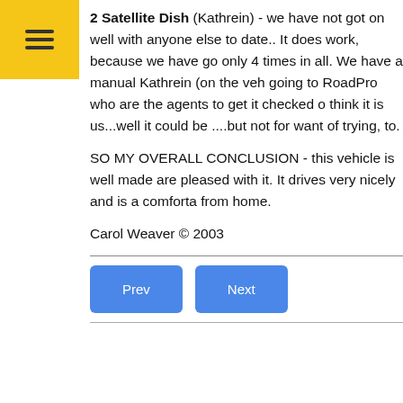2 Satellite Dish (Kathrein) - we have not got on well with anyone else to date.. It does work, because we have go only 4 times in all. We have a manual Kathrein (on the veh going to RoadPro who are the agents to get it checked o think it is us...well it could be ....but not for want of trying, to.
SO MY OVERALL CONCLUSION - this vehicle is well made are pleased with it. It drives very nicely and is a comforta from home.
Carol Weaver © 2003
Prev  Next